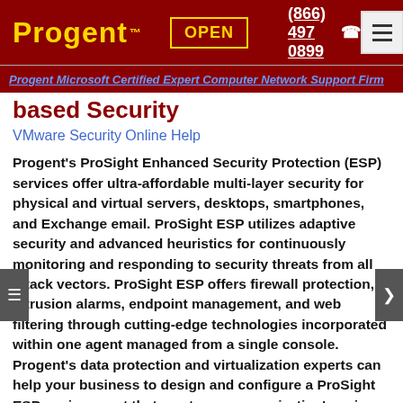Progent™  OPEN  (866) 497 0899
Progent Microsoft Certified Expert Computer Network Support Firm
based Security
VMware Security Online Help
Progent's ProSight Enhanced Security Protection (ESP) services offer ultra-affordable multi-layer security for physical and virtual servers, desktops, smartphones, and Exchange email. ProSight ESP utilizes adaptive security and advanced heuristics for continuously monitoring and responding to security threats from all attack vectors. ProSight ESP offers firewall protection, intrusion alarms, endpoint management, and web filtering through cutting-edge technologies incorporated within one agent managed from a single console. Progent's data protection and virtualization experts can help your business to design and configure a ProSight ESP environment that meets your organization's unique needs and that allows you achieve and demonstrate compliance with legal and industry data security standards. Progent will assist you specify and configure security policies that ProSight ESP